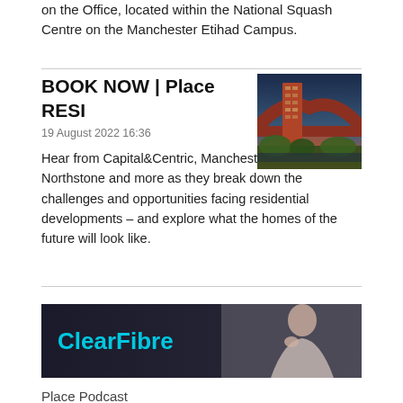on the Office, located within the National Squash Centre on the Manchester Etihad Campus.
BOOK NOW | Place RESI
19 August 2022 16:36
[Figure (photo): Tall modern residential building at dusk with a brick bridge in the background]
Hear from Capital&Centric, Manchester City Council, Northstone and more as they break down the challenges and opportunities facing residential developments – and explore what the homes of the future will look like.
[Figure (photo): ClearFibre advertisement banner showing the ClearFibre logo in cyan text on a dark background with a woman on the right side]
Place Podcast